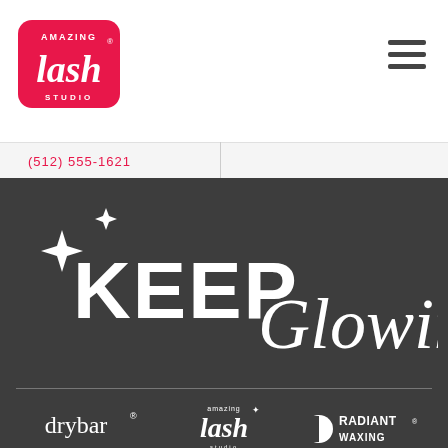[Figure (logo): Amazing Lash Studio logo — white script 'lash' on a pink/red rounded rectangle background with 'AMAZING' and 'STUDIO' text]
[Figure (other): Hamburger menu icon — three horizontal dark grey bars]
(512) 555-1621
[Figure (illustration): Dark grey banner with sparkle stars and large white text reading 'KEEP Glowing' in mixed serif caps and cursive script]
[Figure (logo): Three brand logos in a row on dark background: 'drybar' in lowercase white serif, 'Amazing lash studio' in white script/sans, and 'RADIANT WAXING' in white with half-circle icon]